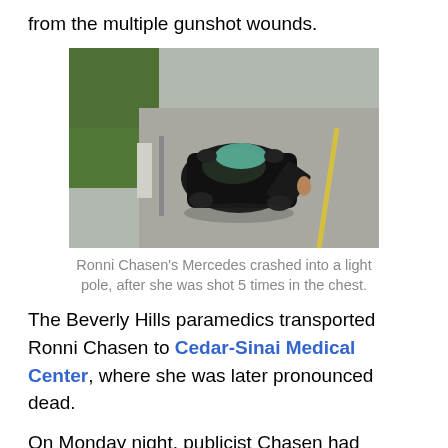from the multiple gunshot wounds.
[Figure (photo): Aerial view of a black Mercedes sedan crashed into a light pole on a road, with the driver's door open. Green foliage is visible on the left side.]
Ronni Chasen's Mercedes crashed into a light pole, after she was shot 5 times in the chest.
The Beverly Hills paramedics transported Ronni Chasen to Cedar-Sinai Medical Center, where she was later pronounced dead.
On Monday night, publicist Chasen had attended the red carpet premiere of the new film "Burlesque" starring